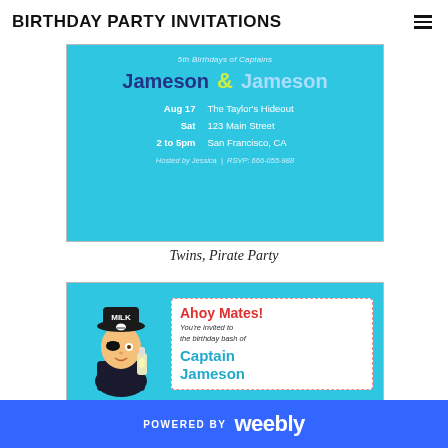BIRTHDAY PARTY INVITATIONS
[Figure (illustration): Twins pirate birthday party invitation card showing names Jameson & Jameson, date Aug 17 Sat 2 to 5pm, The Taylor's Hideout 123 Main Street San Francisco CA, Hosted by Jessica | RSVP: 666-055-988, on a blue background]
Twins, Pirate Party
[Figure (illustration): Pirate birthday party invitation card showing cartoon boy pirate with black hat and milk jug, text Ahoy Mates! You're invited to the birthday bash of Captain Jameson, on a blue background]
POWERED BY weebly